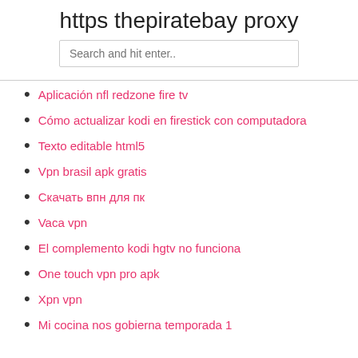https thepiratebay proxy
Aplicación nfl redzone fire tv
Cómo actualizar kodi en firestick con computadora
Texto editable html5
Vpn brasil apk gratis
Скачать впн для пк
Vaca vpn
El complemento kodi hgtv no funciona
One touch vpn pro apk
Xpn vpn
Mi cocina nos gobierna temporada 1